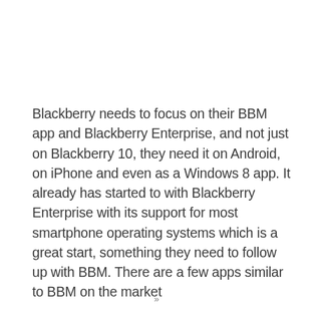Blackberry needs to focus on their BBM app and Blackberry Enterprise, and not just on Blackberry 10, they need it on Android, on iPhone and even as a Windows 8 app. It already has started to with Blackberry Enterprise with its support for most smartphone operating systems which is a great start, something they need to follow up with BBM. There are a few apps similar to BBM on the market